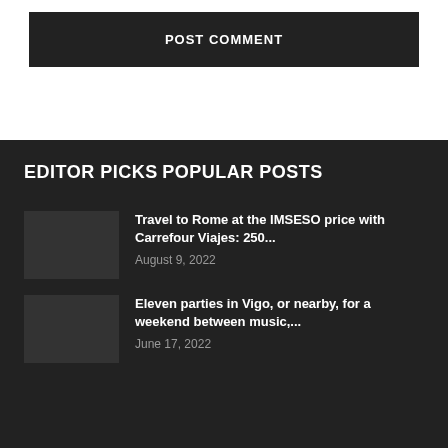POST COMMENT
EDITOR PICKS
POPULAR POSTS
Travel to Rome at the IMSESO price with Carrefour Viajes: 250...
August 9, 2022
Eleven parties in Vigo, or nearby, for a weekend between music,...
June 17, 2022